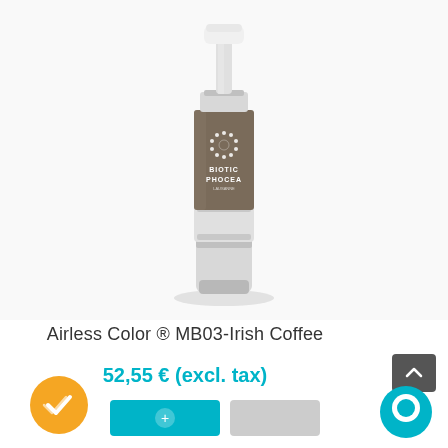[Figure (photo): Product photo of Biotic Phocea Airless Color MB03-Irish Coffee cosmetic pump bottle. The bottle has a silver metallic pump top and base, with a brown/taupe matte body displaying the Biotic Phocea logo with a dotted circle icon.]
Airless Color ® MB03-Irish Coffee
52,55 € (excl. tax)